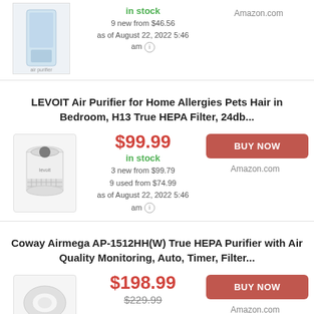[Figure (photo): Air purifier product image (top, partial)]
in stock
9 new from $46.56
as of August 22, 2022 5:46 am
Amazon.com
LEVOIT Air Purifier for Home Allergies Pets Hair in Bedroom, H13 True HEPA Filter, 24db...
[Figure (photo): LEVOIT air purifier product image - white cylindrical air purifier]
$99.99
in stock
3 new from $99.79
9 used from $74.99
as of August 22, 2022 5:46 am
BUY NOW
Amazon.com
Coway Airmega AP-1512HH(W) True HEPA Purifier with Air Quality Monitoring, Auto, Timer, Filter...
$198.99
$229.99
BUY NOW
Amazon.com